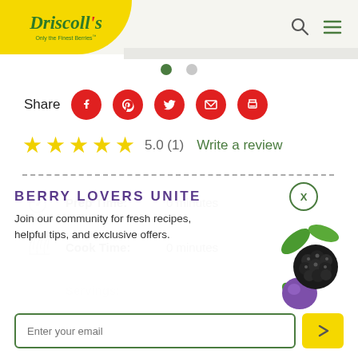[Figure (logo): Driscoll's brand logo with 'Only the Finest Berries' tagline on yellow background]
Share
[Figure (infographic): Social share buttons: Facebook, Pinterest, Twitter, Email, Print]
5.0 (1)   Write a review
Prep Time: 0 minutes
Cook Time: 0 minutes
BERRY LOVERS UNITE
Join our community for fresh recipes, helpful tips, and exclusive offers.
Enter your email